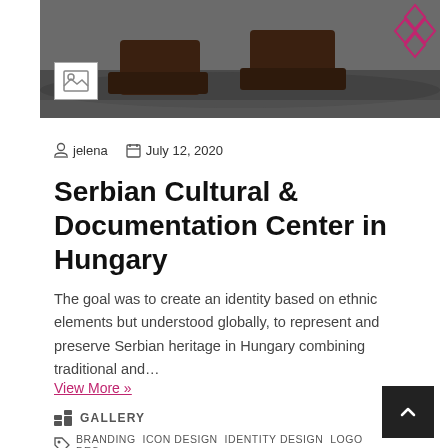[Figure (photo): Hero image showing dark brown shoes/boots on a wet surface, with a red geometric diamond pattern overlay in top-right corner. A small image placeholder icon is overlaid on the lower-left of the photo.]
jelena   July 12, 2020
Serbian Cultural & Documentation Center in Hungary
The goal was to create an identity based on ethnic elements but understood globally, to represent and preserve Serbian heritage in Hungary combining traditional and…
View More »
GALLERY
BRANDING  ICON DESIGN  IDENTITY DESIGN  LOGO DES…